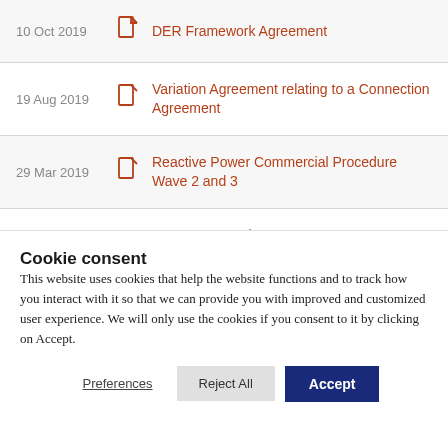10 Oct 2019 — DER Framework Agreement
19 Aug 2019 — Variation Agreement relating to a Connection Agreement
29 Mar 2019 — Reactive Power Commercial Procedure Wave 2 and 3
13 Mar 2019 — DER Framework Agreement Document Summary
Technical Characteristics
Cookie consent
This website uses cookies that help the website functions and to track how you interact with it so that we can provide you with improved and customized user experience. We will only use the cookies if you consent to it by clicking on Accept.
Preferences | Reject All | Accept